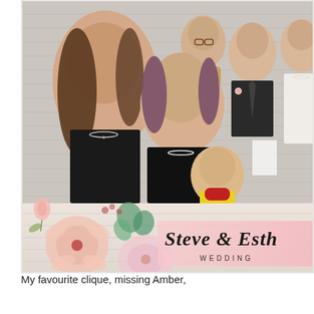[Figure (photo): Wedding photo booth image showing a group of people: a woman with long brown hair in a black lace dress, a woman with purple-tinged hair holding a baby in a yellow shirt, a woman with glasses in the background, a man in a black suit with a corsage, and a woman in a white wedding dress. The bottom of the photo shows a floral watercolor design with a pink banner reading 'Steve & Esth... WEDDING'.]
My favourite clique, missing Amber,